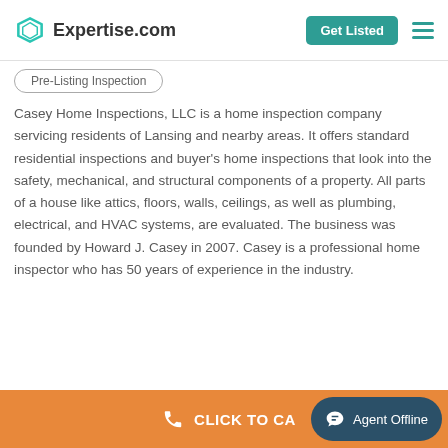Expertise.com — Get Listed
Pre-Listing Inspection
Casey Home Inspections, LLC is a home inspection company servicing residents of Lansing and nearby areas. It offers standard residential inspections and buyer's home inspections that look into the safety, mechanical, and structural components of a property. All parts of a house like attics, floors, walls, ceilings, as well as plumbing, electrical, and HVAC systems, are evaluated. The business was founded by Howard J. Casey in 2007. Casey is a professional home inspector who has 50 years of experience in the industry.
CLICK TO CALL | Agent Offline